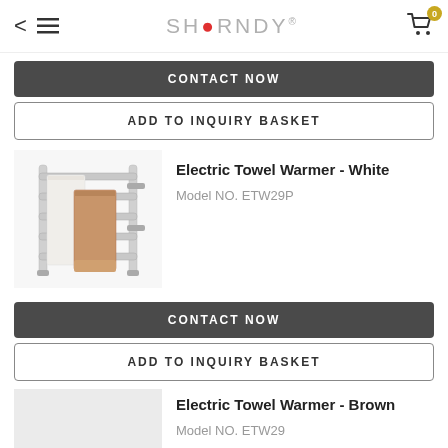SHARNDY
CONTACT NOW
ADD TO INQUIRY BASKET
Electric Towel Warmer - White
Model NO. ETW29P
[Figure (photo): Electric towel warmer rack in white/chrome finish with white and brown towels draped over horizontal bars]
CONTACT NOW
ADD TO INQUIRY BASKET
Electric Towel Warmer - Brown
Model NO. ETW29